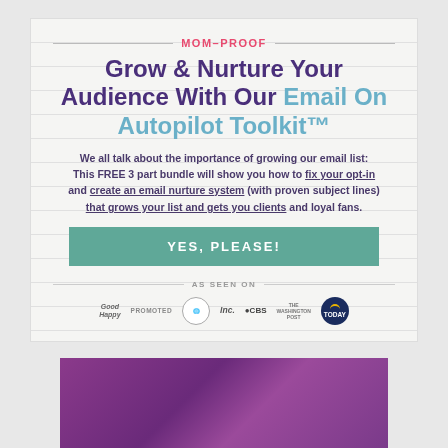MOM-PROOF
Grow & Nurture Your Audience With Our Email On Autopilot Toolkit™
We all talk about the importance of growing our email list: This FREE 3 part bundle will show you how to fix your opt-in and create an email nurture system (with proven subject lines) that grows your list and gets you clients and loyal fans.
YES, PLEASE!
AS SEEN ON
[Figure (logo): Media logos: Good Happy, Promoted, (circle logo), Inc., CBS, The Washington Post, TODAY]
[Figure (photo): Purple background partial image at bottom]